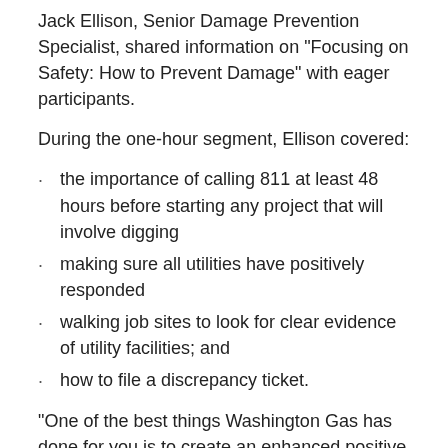Jack Ellison, Senior Damage Prevention Specialist, shared information on "Focusing on Safety: How to Prevent Damage" with eager participants.
During the one-hour segment, Ellison covered:
the importance of calling 811 at least 48 hours before starting any project that will involve digging
making sure all utilities have positively responded
walking job sites to look for clear evidence of utility facilities; and
how to file a discrepancy ticket.
"One of the best things Washington Gas has done for you is to create an enhanced positive response process," Ellison, Senior Damage Specialist, told his groups. "We will send you a report that includes aerial photos of your job site and the photos will show markings to help identify where our lines are located."
Ellison shared that Washington, D.C. area utilities have been doing a good job of educating the public about